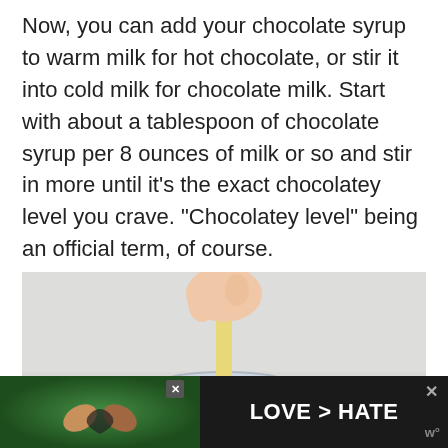Now, you can add your chocolate syrup to warm milk for hot chocolate, or stir it into cold milk for chocolate milk. Start with about a tablespoon of chocolate syrup per 8 ounces of milk or so and stir in more until it’s the exact chocolatey level you crave. “Chocolatey level” being an official term, of course.
[Figure (photo): A hand stirring a yellow spoon or stick into a glass of milk, with a light gray background.]
[Figure (photo): Advertisement banner showing two hands making a heart shape outdoors with green foliage background, with text LOVE > HATE in white bold letters on dark background.]